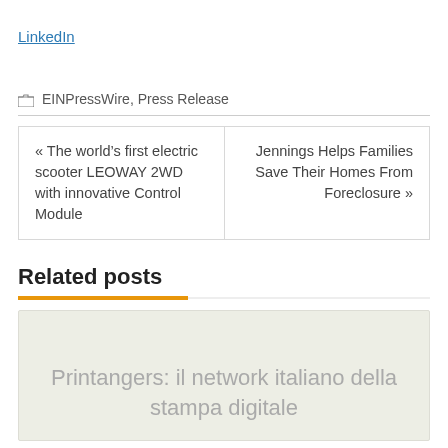LinkedIn
EINPressWire, Press Release
« The world’s first electric scooter LEOWAY 2WD with innovative Control Module
Jennings Helps Families Save Their Homes From Foreclosure »
Related posts
Printangers: il network italiano della stampa digitale